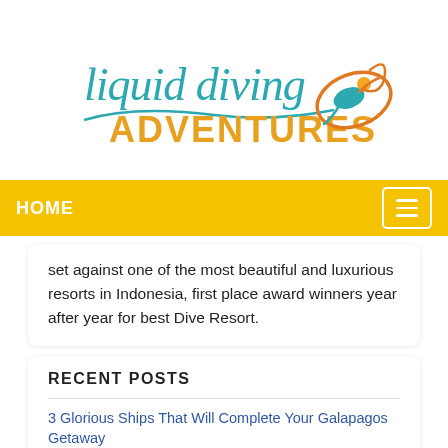[Figure (logo): Liquid Diving Adventures logo — teal cursive 'liquid diving' text above orange bold 'ADVENTURES', with an orange/teal diver figure icon to the right]
HOME
set against one of the most beautiful and luxurious resorts in Indonesia, first place award winners year after year for best Dive Resort.
RECENT POSTS
3 Glorious Ships That Will Complete Your Galapagos Getaway
Seabourn Encore to the Aegean Sea April 23-30, 2023
5 Best Sites for Diving in Azores Islands & Madeira
Urban Diving from Lisbon, Portugal